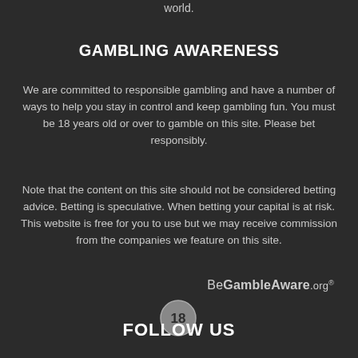world.
GAMBLING AWARENESS
We are committed to responsible gambling and have a number of ways to help you stay in control and keep gambling fun. You must be 18 years old or over to gamble on this site. Please bet responsibly.
Note that the content on this site should not be considered betting advice. Betting is speculative. When betting your capital is at risk. This website is free for you to use but we may receive commission from the companies we feature on this site.
[Figure (logo): BeGambleAware.org logo in light grey text]
[Figure (illustration): 18+ age badge circle icon]
FOLLOW US